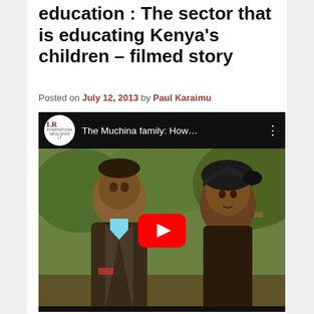education : The sector that is educating Kenya's children – filmed story
Posted on July 12, 2013 by Paul Karaimu
[Figure (screenshot): YouTube video thumbnail showing two people — a young man on the left wearing a dark jacket with a light blue shirt, and a woman on the right wearing a dark headwrap — with the video title 'The Muchina family: How…' displayed at the top and a red YouTube play button in the center. The channel logo (LR International) appears in the top-left corner.]